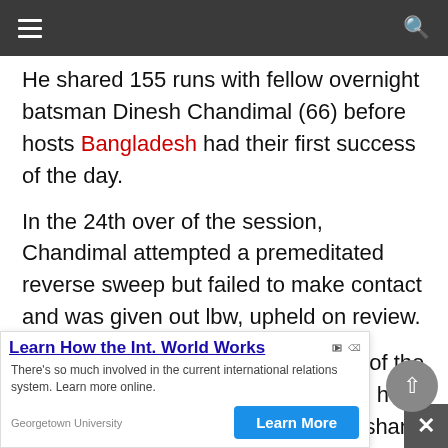[hamburger menu] [search icon]
He shared 155 runs with fellow overnight batsman Dinesh Chandimal (66) before hosts Bangladesh had their first success of the day.
In the 24th over of the session, Chandimal attempted a premeditated reverse sweep but failed to make contact and was given out lbw, upheld on review.
Nayeem celebrated his third wicket of the innings and soon had a fourth when he bowled wicketkeeper-batsman Niroshan Dickwella, who
Sha... e first
[Figure (screenshot): Advertisement overlay: 'Learn How the Int. World Works' by Georgetown University with a 'Learn More' blue button. Shows AdChoices badge and close (X) button.]